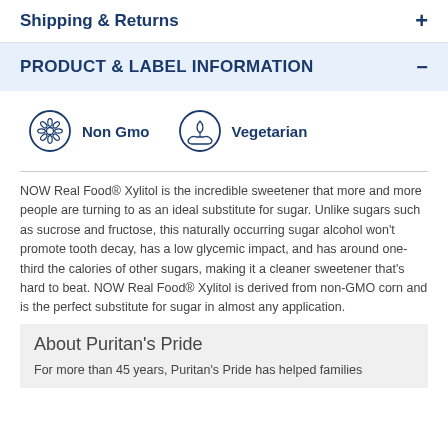Shipping & Returns
PRODUCT & LABEL INFORMATION
[Figure (infographic): Two badge icons: Non GMO (flower icon in circle) and Vegetarian (leaf/hand icon in circle)]
NOW Real Food® Xylitol is the incredible sweetener that more and more people are turning to as an ideal substitute for sugar. Unlike sugars such as sucrose and fructose, this naturally occurring sugar alcohol won't promote tooth decay, has a low glycemic impact, and has around one-third the calories of other sugars, making it a cleaner sweetener that's hard to beat. NOW Real Food® Xylitol is derived from non-GMO corn and is the perfect substitute for sugar in almost any application.
About Puritan's Pride
For more than 45 years, Puritan's Pride has helped families